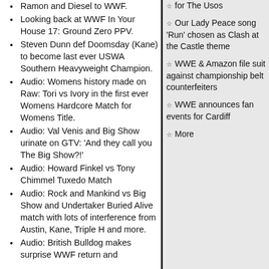Ramon and Diesel to WWF.
Looking back at WWF In Your House 17: Ground Zero PPV.
Steven Dunn def Doomsday (Kane) to become last ever USWA Southern Heavyweight Champion.
Audio: Womens history made on Raw: Tori vs Ivory in the first ever Womens Hardcore Match for Womens Title.
Audio: Val Venis and Big Show urinate on GTV: 'And they call you The Big Show?!'
Audio: Howard Finkel vs Tony Chimmel Tuxedo Match
Audio: Rock and Mankind vs Big Show and Undertaker Buried Alive match with lots of interference from Austin, Kane, Triple H and more.
Audio: British Bulldog makes surprise WWF return and
for The Usos
Our Lady Peace song 'Run' chosen as Clash at the Castle theme
WWE & Amazon file suit against championship belt counterfeiters
WWE announces fan events for Cardiff
More